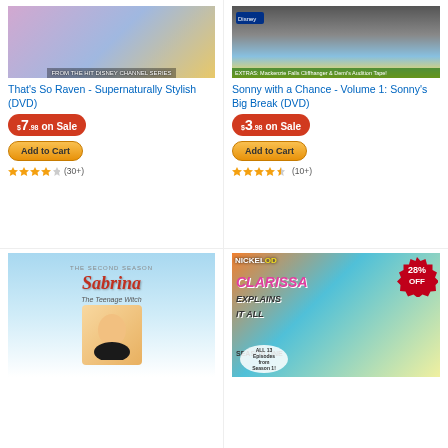[Figure (photo): DVD cover for That's So Raven - Supernaturally Stylish, from the hit Disney Channel Series]
That's So Raven - Supernaturally Stylish (DVD)
$7.98 on Sale
Add to Cart
(30+)
[Figure (photo): DVD cover for Sonny with a Chance - Volume 1: Sonny's Big Break, Disney Channel, with extras]
Sonny with a Chance - Volume 1: Sonny's Big Break (DVD)
$3.98 on Sale
Add to Cart
(10+)
[Figure (photo): DVD cover for Sabrina the Teenage Witch - The Second Season]
[Figure (photo): DVD cover for Clarissa Explains It All - Season One, Nickelodeon, all 13 episodes, 28% off badge]